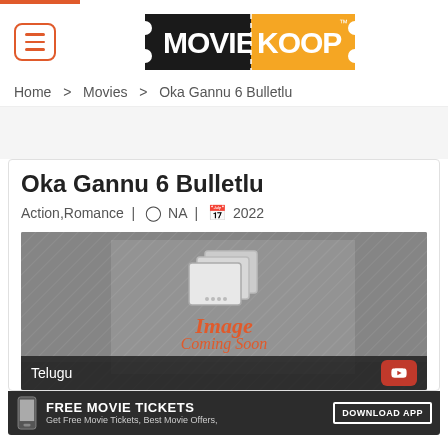[Figure (logo): MovieKoop logo - black and orange ticket-style logo]
Home > Movies > Oka Gannu 6 Bulletlu
Oka Gannu 6 Bulletlu
Action,Romance | ⊙ NA | 📅 2022
[Figure (illustration): Image Coming Soon placeholder with Telugu language label and YouTube button]
FREE MOVIE TICKETS - Get Free Movie Tickets, Best Movie Offers, - DOWNLOAD APP